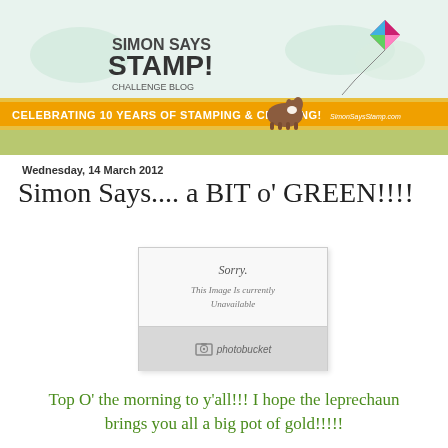[Figure (logo): Simon Says Stamp Challenge Blog banner with orange ribbon celebrating 10 years of stamping and creating, featuring a dog and kite illustration]
Wednesday, 14 March 2012
Simon Says.... a BIT o' GREEN!!!!
[Figure (photo): Photobucket unavailable image placeholder showing 'Sorry. This Image Is Currently Unavailable']
Top O' the morning to y'all!!! I hope the leprechaun brings you all a big pot of gold!!!!!